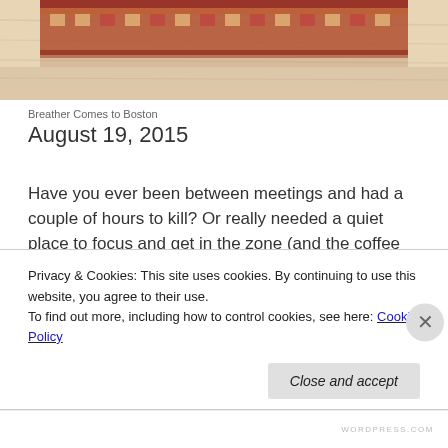[Figure (photo): Top portion of a photo showing a decorative rug or carpet on a light wood floor, partially cropped]
Breather Comes to Boston
August 19, 2015
Have you ever been between meetings and had a couple of hours to kill? Or really needed a quiet place to focus and get in the zone (and the coffee shop just wasn't cutting it)? I've been there plenty of times and in a busy city, a quiet space to call your own can be hard to find. More
Privacy & Cookies: This site uses cookies. By continuing to use this website, you agree to their use.
To find out more, including how to control cookies, see here: Cookie Policy
Close and accept